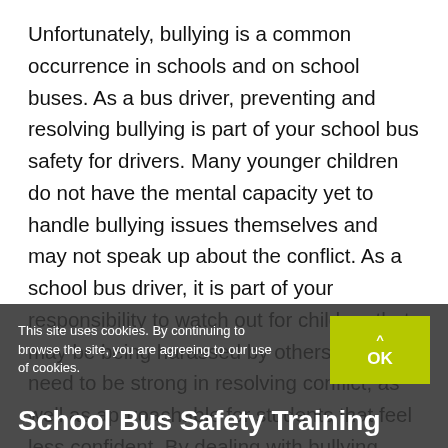Unfortunately, bullying is a common occurrence in schools and on school buses. As a bus driver, preventing and resolving bullying is part of your school bus safety for drivers. Many younger children do not have the mental capacity yet to handle bullying issues themselves and may not speak up about the conflict. As a school bus driver, it is part of your responsibility to watch out for children that may be being harassed by others. You need to be strong in resolving conflict, as well as approachable for students that feel less confident. By dealing with bullying head-on, you are setting a standard of safety and respect on your bus to make everyone feel safe and comfortable.
This site uses cookies. By continuing to browse the site, you are agreeing to our use of cookies.
School Bus Safety Training